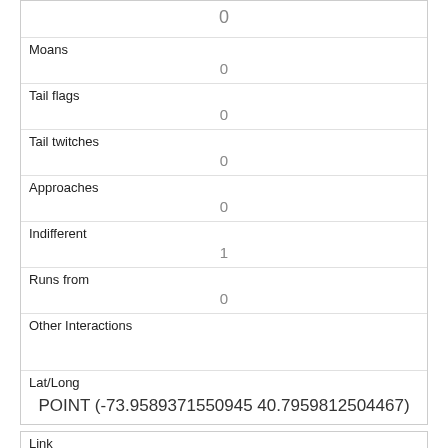| 0 |
| Moans | 0 |
| Tail flags | 0 |
| Tail twitches | 0 |
| Approaches | 0 |
| Indifferent | 1 |
| Runs from | 0 |
| Other Interactions |  |
| Lat/Long | POINT (-73.9589371550945 40.7959812504467) |
| Link | 1407 |
| rowid |  |